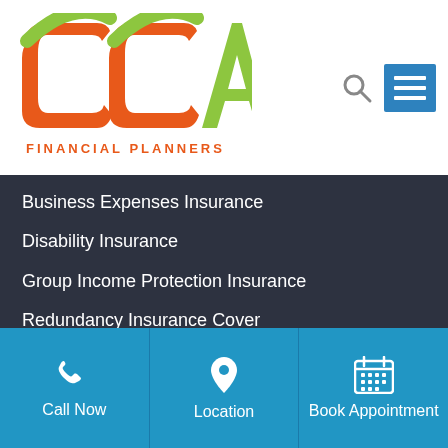[Figure (logo): CCA Financial Planners logo with orange and green stylized 'CCA' letters above text 'FINANCIAL PLANNERS' in orange]
Business Expenses Insurance
Disability Insurance
Group Income Protection Insurance
Redundancy Insurance Cover
Personal Insurance Links
Personal Insurance
Call Now
Location
Book Appointment